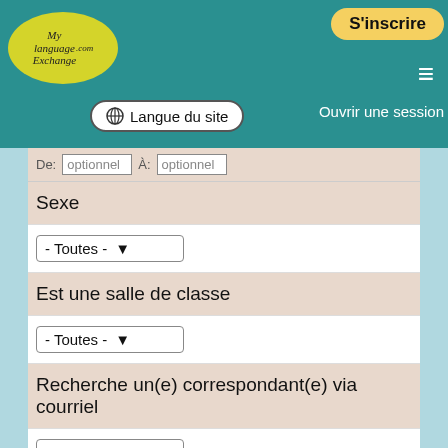[Figure (logo): MyLanguageExchange.com logo - yellow oval with stylized text]
S'inscrire
≡
🌐 Langue du site
Ouvrir une session
De: [optionnel]  À: [optionnel]
Sexe
- Toutes - ▾
Est une salle de classe
- Toutes - ▾
Recherche un(e) correspondant(e) via courriel
- Toutes - ▾
Recherche un(e) correspondant(e) via chat textuel
oui ▾
Recherche un(e) correspondant(e) via chat vocal